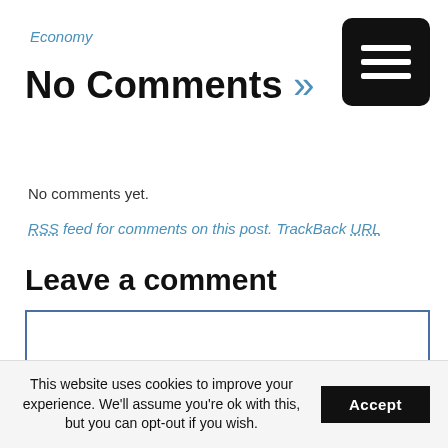Economy
No Comments »
No comments yet.
RSS feed for comments on this post. TrackBack URL
Leave a comment
Name (required)
Mail (will not be published) (required)
This website uses cookies to improve your experience. We'll assume you're ok with this, but you can opt-out if you wish.